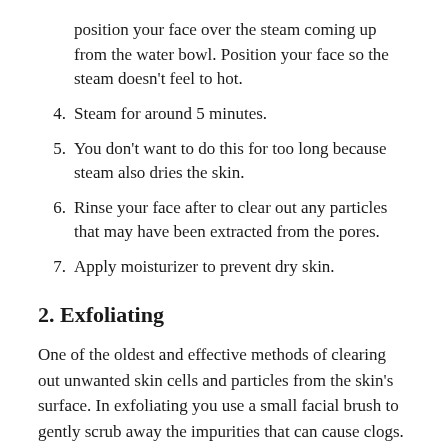position your face over the steam coming up from the water bowl. Position your face so the steam doesn't feel to hot.
4. Steam for around 5 minutes.
5. You don't want to do this for too long because steam also dries the skin.
6. Rinse your face after to clear out any particles that may have been extracted from the pores.
7. Apply moisturizer to prevent dry skin.
2. Exfoliating
One of the oldest and effective methods of clearing out unwanted skin cells and particles from the skin's surface. In exfoliating you use a small facial brush to gently scrub away the impurities that can cause clogs.